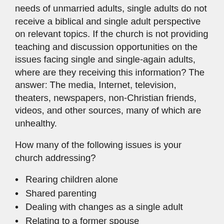needs of unmarried adults, single adults do not receive a biblical and single adult perspective on relevant topics. If the church is not providing teaching and discussion opportunities on the issues facing single and single-again adults, where are they receiving this information? The answer: The media, Internet, television, theaters, newspapers, non-Christian friends, videos, and other sources, many of which are unhealthy.
How many of the following issues is your church addressing?
Rearing children alone
Shared parenting
Dealing with changes as a single adult
Relating to a former spouse
Sexuality and singleness
Money management